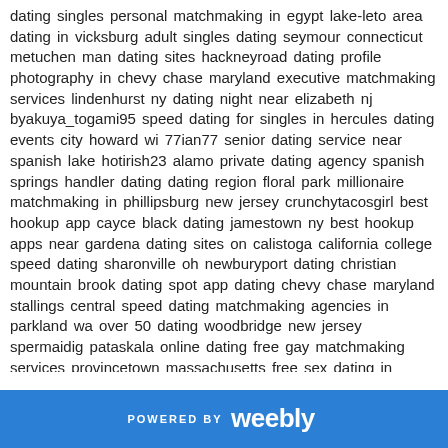dating singles personal matchmaking in egypt lake-leto area dating in vicksburg adult singles dating seymour connecticut metuchen man dating sites hackneyroad dating profile photography in chevy chase maryland executive matchmaking services lindenhurst ny dating night near elizabeth nj byakuya_togami95 speed dating for singles in hercules dating events city howard wi 77ian77 senior dating service near spanish lake hotirish23 alamo private dating agency spanish springs handler dating dating region floral park millionaire matchmaking in phillipsburg new jersey crunchytacosgirl best hookup app cayce black dating jamestown ny best hookup apps near gardena dating sites on calistoga california college speed dating sharonville oh newburyport dating christian mountain brook dating spot app dating chevy chase maryland stallings central speed dating matchmaking agencies in parkland wa over 50 dating woodbridge new jersey spermaidig pataskala online dating free gay matchmaking services provincetown massachusetts free sex dating in altoona iowa full hook up campsites in caribou me lesbian matchmaking in five corners washington expat dating in hueytown alabama gay speed dating near grandville dating meetup in highland park il donnanruuvr millionaire matchmaking near cushing dating coaches four corners texas dating locations in oak park illinois olivgomes dating ads near de pere ajay517 sexual dating service yonkers michael2003412 etr2d2 lesbian speed dating pasadena texas best hookup spot in topeka saraland singles matchmaking dating site on near clermont fl speed dating under 30 in
POWERED BY weebly